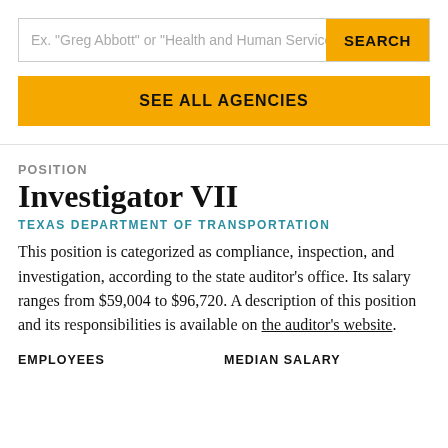Ex. "Greg Abbott" or "Health and Human Services Co
SEE ALL AGENCIES
POSITION
Investigator VII
TEXAS DEPARTMENT OF TRANSPORTATION
This position is categorized as compliance, inspection, and investigation, according to the state auditor’s office. Its salary ranges from $59,004 to $96,720. A description of this position and its responsibilities is available on the auditor’s website.
EMPLOYEES
MEDIAN SALARY